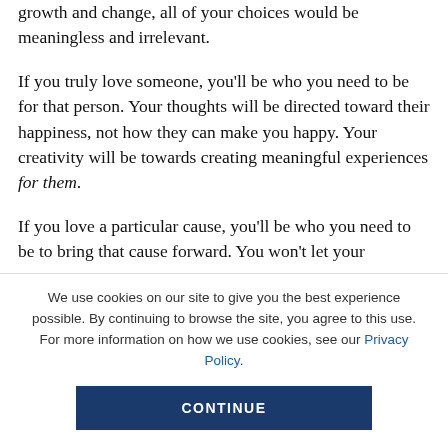growth and change, all of your choices would be meaningless and irrelevant.
If you truly love someone, you'll be who you need to be for that person. Your thoughts will be directed toward their happiness, not how they can make you happy. Your creativity will be towards creating meaningful experiences for them.
If you love a particular cause, you'll be who you need to be to bring that cause forward. You won't let your
We use cookies on our site to give you the best experience possible. By continuing to browse the site, you agree to this use. For more information on how we use cookies, see our Privacy Policy.
CONTINUE